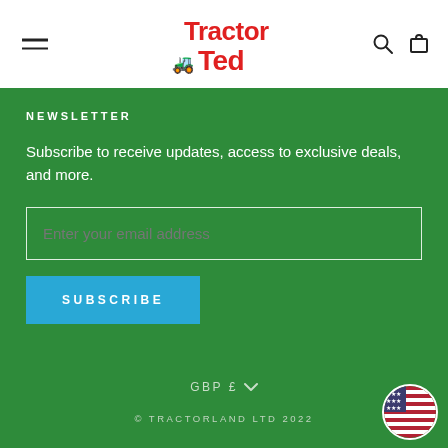Tractor Ted — site header with menu icon, logo, search and cart
NEWSLETTER
Subscribe to receive updates, access to exclusive deals, and more.
Enter your email address
SUBSCRIBE
GBP £
© TRACTORLAND LTD 2022